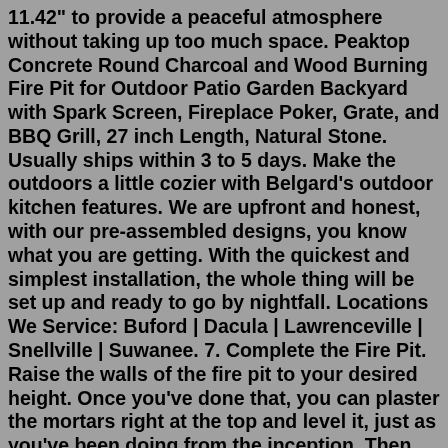11.42" to provide a peaceful atmosphere without taking up too much space. Peaktop Concrete Round Charcoal and Wood Burning Fire Pit for Outdoor Patio Garden Backyard with Spark Screen, Fireplace Poker, Grate, and BBQ Grill, 27 inch Length, Natural Stone. Usually ships within 3 to 5 days. Make the outdoors a little cozier with Belgard's outdoor kitchen features. We are upfront and honest, with our pre-assembled designs, you know what you are getting. With the quickest and simplest installation, the whole thing will be set up and ready to go by nightfall. Locations We Service: Buford | Dacula | Lawrenceville | Snellville | Suwanee. 7. Complete the Fire Pit. Raise the walls of the fire pit to your desired height. Once you've done that, you can plaster the mortars right at the top and level it, just as you've been doing from the inception. Then, lay flat, smooth stone on the top of the fire pit. Utilizing tiles would be far better. 8.Oct 23, 2021 · Read on for shopping lists and tutorials for all 27 awesome DIY firepit ideas. 1. Stone Firepit with Half Wall DIY Project Details